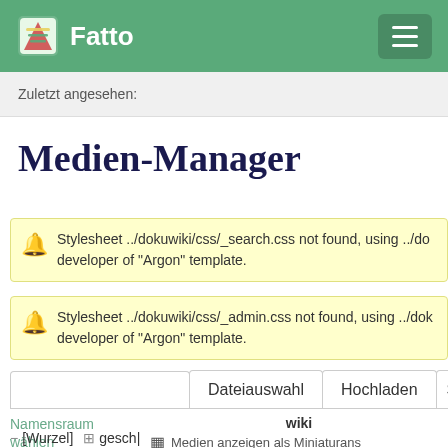Fatto
Zuletzt angesehen:
Medien-Manager
Stylesheet ../dokuwiki/css/_search.css not found, using ../do developer of "Argon" template.
Stylesheet ../dokuwiki/css/_admin.css not found, using ../dok developer of "Argon" template.
Dateiauswahl  Hochladen  S
Namensraum wählen
wiki
Medien anzeigen als Miniaturans
Medien anzeigen als Listenansic
□ [Wurzel]  ⊞ gesch|